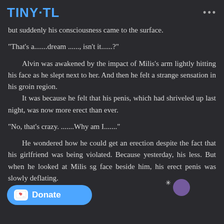TINY·TL
but suddenly his consciousness came to the surface.
"That's a.......dream ......, isn't it......?"
Alvin was awakened by the impact of Milis's arm lightly hitting his face as he slept next to her. And then he felt a strange sensation in his groin region.
    It was because he felt that his penis, which had shriveled up last night, was now more erect than ever.
"No, that's crazy. .......Why am I......."
He wondered how he could get an erection despite the fact that his girlfriend was being violated. Because yesterday, his [...]less. But when he looked at Milis s[...]g face beside him, his erect penis was slowly deflating.